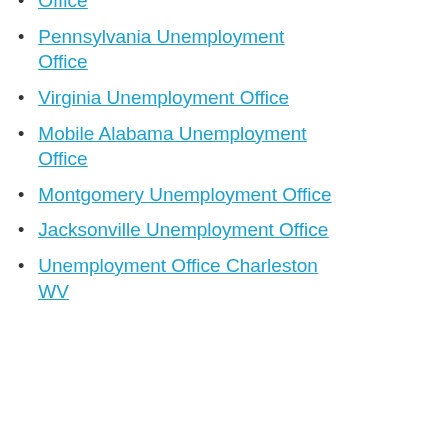Office
Pennsylvania Unemployment Office
Virginia Unemployment Office
Mobile Alabama Unemployment Office
Montgomery Unemployment Office
Jacksonville Unemployment Office
Unemployment Office Charleston WV